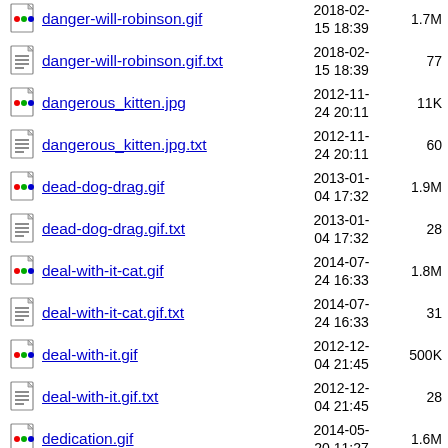danger-will-robinson.gif  2018-02-15 18:39  1.7M
danger-will-robinson.gif.txt  2018-02-15 18:39  77
dangerous_kitten.jpg  2012-11-24 20:11  11K
dangerous_kitten.jpg.txt  2012-11-24 20:11  60
dead-dog-drag.gif  2013-01-04 17:32  1.9M
dead-dog-drag.gif.txt  2013-01-04 17:32  28
deal-with-it-cat.gif  2014-07-24 16:33  1.8M
deal-with-it-cat.gif.txt  2014-07-24 16:33  31
deal-with-it.gif  2012-12-04 21:45  500K
deal-with-it.gif.txt  2012-12-04 21:45  28
dedication.gif  2014-05-20 11:27  1.6M
dedication.gif.txt  2014-05-  31